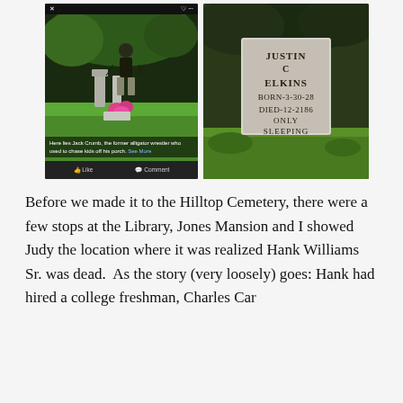[Figure (photo): Left: A Facebook post screenshot showing a woman standing in a cemetery near grave markers with pink flowers, with a caption overlay reading 'Here lies Jack Crumb, the former alligator wrestler who used to chase kids off his porch. See More' and Like/Comment buttons at the bottom. Right: A close-up photo of a weathered gravestone inscribed 'JUSTIN C ELKINS BORN-3-30-28 DIED-12-2186 ONLY SLEEPING' set in a grassy cemetery.]
Before we made it to the Hilltop Cemetery, there were a few stops at the Library, Jones Mansion and I showed Judy the location where it was realized Hank Williams Sr. was dead.  As the story (very loosely) goes: Hank had hired a college freshman, Charles Car...